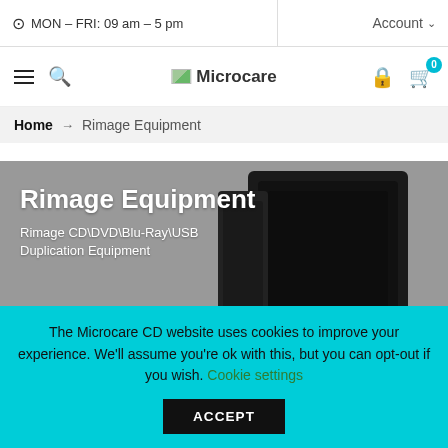MON – FRI: 09 am – 5 pm   Account
[Figure (screenshot): Microcare logo with navigation icons: hamburger menu, search, lock, cart with 0 badge]
Home → Rimage Equipment
[Figure (photo): Hero banner showing Rimage Equipment with dark device image on grey background. Title: Rimage Equipment. Subtitle: Rimage CD\DVD\Blu-Ray\USB Duplication Equipment]
The Microcare CD website uses cookies to improve your experience. We'll assume you're ok with this, but you can opt-out if you wish. Cookie settings  ACCEPT